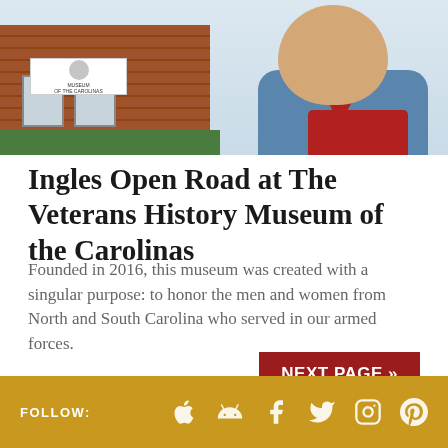[Figure (photo): Photo of a person in a blue denim shirt with a red shirt underneath, standing in front of a brick building (Veterans History Museum of the Carolinas) with an American flag visible.]
Ingles Open Road at The Veterans History Museum of the Carolinas
Founded in 2016, this museum was created with a singular purpose: to honor the men and women from North and South Carolina who served in our armed forces.
NEXT PAGE »
FOLLOW: